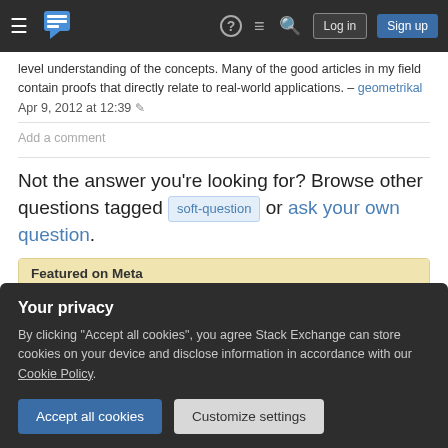Stack Exchange navigation bar with Log in and Sign up buttons
level understanding of the concepts. Many of the good articles in my field contain proofs that directly relate to real-world applications. – geometrikal Apr 9, 2012 at 12:39
Add a comment
Not the answer you're looking for? Browse other questions tagged soft-question or ask your own question.
Featured on Meta
Please welcome Valued Associate #1301 - Emerson
Your privacy
By clicking "Accept all cookies", you agree Stack Exchange can store cookies on your device and disclose information in accordance with our Cookie Policy.
Accept all cookies
Customize settings